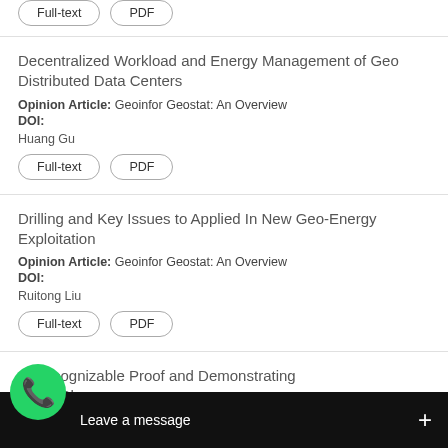Full-text  PDF
Decentralized Workload and Energy Management of Geo Distributed Data Centers
Opinion Article: Geoinfor Geostat: An Overview
DOI:
Huang Gu
Full-text  PDF
Drilling and Key Issues to Applied In New Geo-Energy Exploitation
Opinion Article: Geoinfor Geostat: An Overview
DOI:
Ruitong Liu
Full-text  PDF
ct Recognizable Proof and Demonstrating ... ork to Change over fro... phic Peculiarities
Rapi...
[Figure (screenshot): WhatsApp 'Leave a message' overlay bar with green WhatsApp icon at bottom of screen]